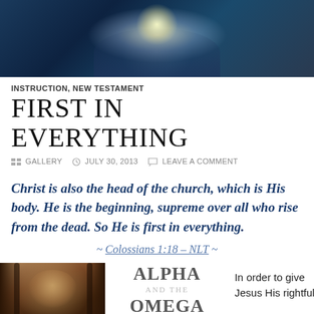[Figure (illustration): Hero image with glowing angelic figure against dark blue background]
INSTRUCTION, NEW TESTAMENT
FIRST IN EVERYTHING
GALLERY  JULY 30, 2013  LEAVE A COMMENT
Christ is also the head of the church, which is His body. He is the beginning, supreme over all who rise from the dead. So He is first in everything.
~ Colossians 1:18 – NLT ~
[Figure (illustration): Portrait of Jesus Christ with long dark hair]
[Figure (illustration): THE ALPHA AND THE OMEGA THE BEGINNING text graphic]
In order to give Jesus His rightful